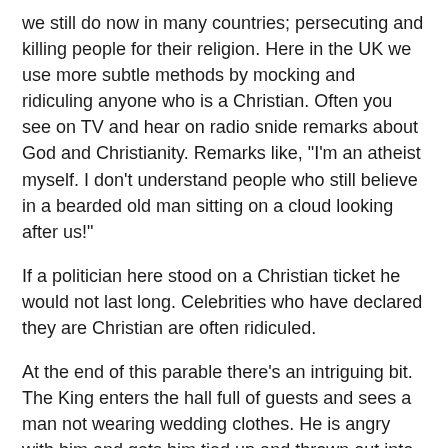we still do now in many countries; persecuting and killing people for their religion. Here in the UK we use more subtle methods by mocking and ridiculing anyone who is a Christian. Often you see on TV and hear on radio snide remarks about God and Christianity. Remarks like, "I'm an atheist myself. I don't understand people who still believe in a bearded old man sitting on a cloud looking after us!"
If a politician here stood on a Christian ticket he would not last long. Celebrities who have declared they are Christian are often ridiculed.
At the end of this parable there's an intriguing bit. The King enters the hall full of guests and sees a man not wearing wedding clothes. He is angry with him and gets him tied up and thrown out into the street.
Now this seems rather harsh treatment for someone not wearing the right clothes. Until we stop and understand Jewish tradition.
Jesus was talking to the Jews who understood very well that the...